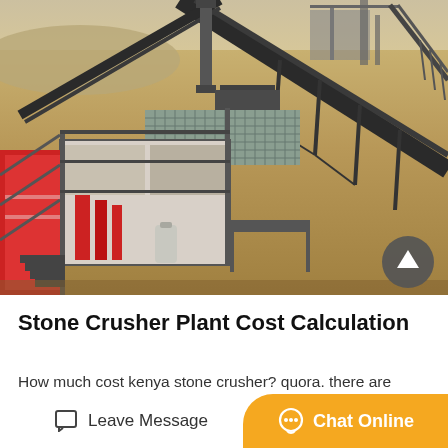[Figure (photo): Aerial/elevated view of a stone crusher plant in a sandy/arid environment. Shows multiple conveyor belts, heavy machinery including crushers, a red structure on the left, a white/grey machinery body with metal grating platform, and a back-to-top button (dark circle with upward arrow) in the lower right of the image.]
Stone Crusher Plant Cost Calculation
How much cost kenya stone crusher? quora. there are series of cone crushers for sale in crushing plant b...